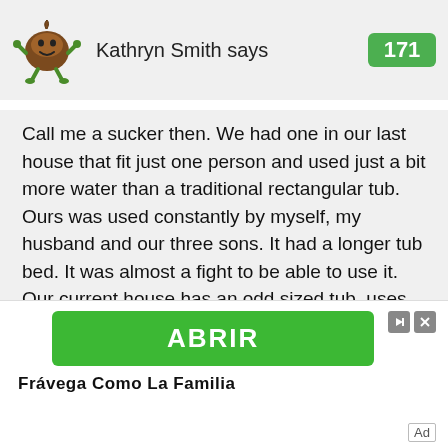[Figure (illustration): Cartoon avatar of a brown character (poop emoji style with eyes and legs) used as a user avatar]
Kathryn Smith says
171
Call me a sucker then. We had one in our last house that fit just one person and used just a bit more water than a traditional rectangular tub. Ours was used constantly by myself, my husband and our three sons. It had a longer tub bed. It was almost a fight to be able to use it. Our current house has an odd sized tub, uses too much water and is not long enough. I would love to be able to find another corner tub to replace it that is longer and doesn't use so much water. So far, no dice.
ABRIR
Frávega Como La Familia
Ad